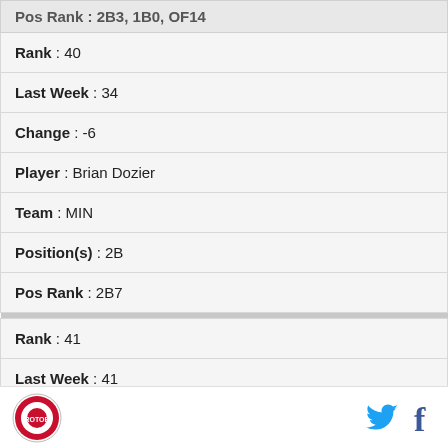| Pos Rank : 2B3, 1B0, OF14 |
| Rank : 40 |
| Last Week : 34 |
| Change : -6 |
| Player : Brian Dozier |
| Team : MIN |
| Position(s) : 2B |
| Pos Rank : 2B7 |
| Rank : 41 |
| Last Week : 41 |
| Change : 0 |
| Player : Stephen Straub... |
Logo | Twitter | Facebook